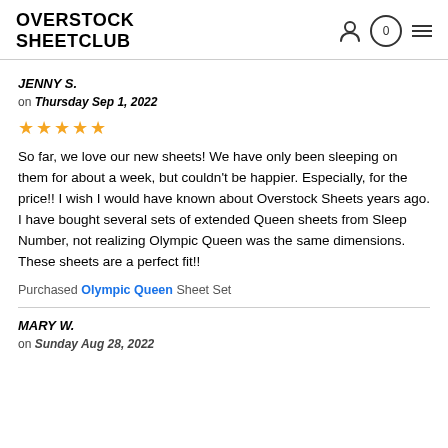OVERSTOCK SHEETCLUB
JENNY S.
on Thursday Sep 1, 2022
[Figure (other): Five gold stars rating]
So far, we love our new sheets! We have only been sleeping on them for about a week, but couldn't be happier. Especially, for the price!! I wish I would have known about Overstock Sheets years ago. I have bought several sets of extended Queen sheets from Sleep Number, not realizing Olympic Queen was the same dimensions. These sheets are a perfect fit!!
Purchased Olympic Queen Sheet Set
MARY W.
on Sunday Aug 28, 2022